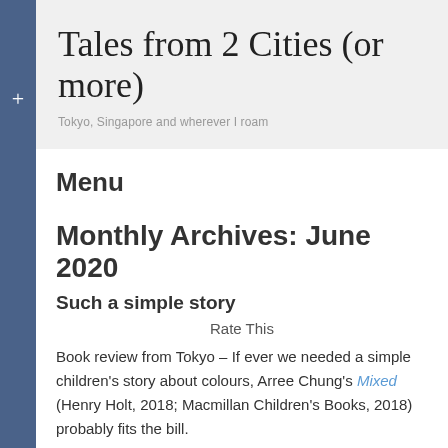Tales from 2 Cities (or more)
Tokyo, Singapore and wherever I roam
Menu
Monthly Archives: June 2020
Such a simple story
Rate This
Book review from Tokyo – If ever we needed a simple children's story about colours, Arree Chung's Mixed (Henry Holt, 2018; Macmillan Children's Books, 2018) probably fits the bill.